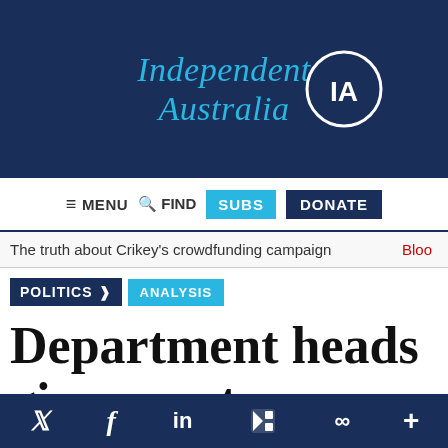[Figure (logo): Independent Australia logo with 'IA' in a circle on dark navy background, text in cyan/light blue italic serif font]
≡ MENU  🔍 FIND  SUBS  DONATE
The truth about Crikey's crowdfunding campaign   Bloo
POLITICS >  ANALYSIS
Department heads give worst ever
Twitter  Facebook  LinkedIn  Flipboard  Share  Plus